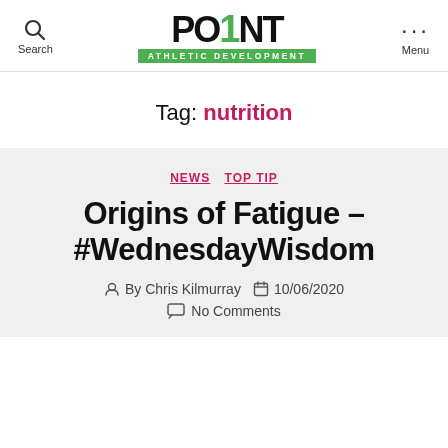Search | Point Athletic Development | Menu
Tag: nutrition
NEWS  TOP TIP
Origins of Fatigue – #WednesdayWisdom
By Chris Kilmurray  10/06/2020  No Comments